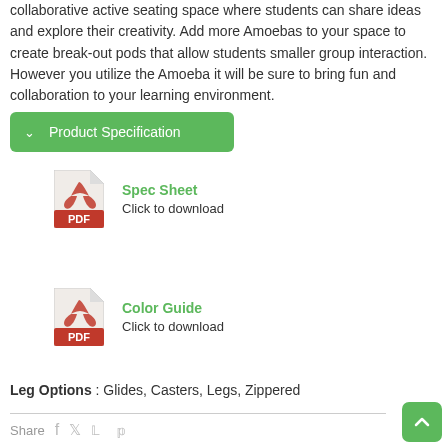collaborative active seating space where students can share ideas and explore their creativity. Add more Amoebas to your space to create break-out pods that allow students smaller group interaction. However you utilize the Amoeba it will be sure to bring fun and collaboration to your learning environment.
Product Specification
[Figure (other): PDF icon for Spec Sheet download]
Spec Sheet
Click to download
[Figure (other): PDF icon for Color Guide download]
Color Guide
Click to download
Leg Options : Glides, Casters, Legs, Zippered
Share